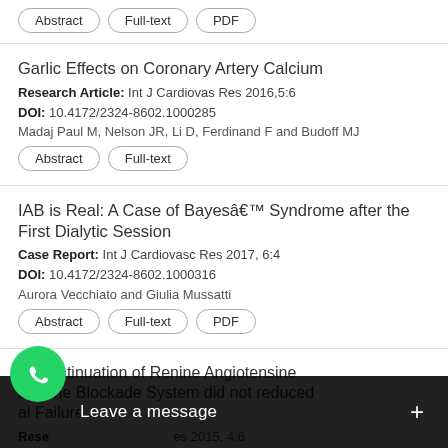[Truncated top — buttons visible: Abstract, Full-text, PDF]
Garlic Effects on Coronary Artery Calcium
Research Article: Int J Cardiovas Res 2016,5:6
DOI: 10.4172/2324-8602.1000285
Madaj Paul M, Nelson JR, Li D, Ferdinand F and Budoff MJ
Abstract | Full-text
IAB is Real: A Case of Bayes'â Syndrome after the First Dialytic Session
Case Report: Int J Cardiovasc Res 2017, 6:4
DOI: 10.4172/2324-8602.1000316
Aurora Vecchiato and Giulia Mussatti
Abstract | Full-text | PDF
Discontinuation of Renine Angiotensine [Aldo]sterone Blockade System did not reduced [Renal] Failure
Research Article: Int J Cardiovasc Res 2015, 4:6
DOI: [truncated]